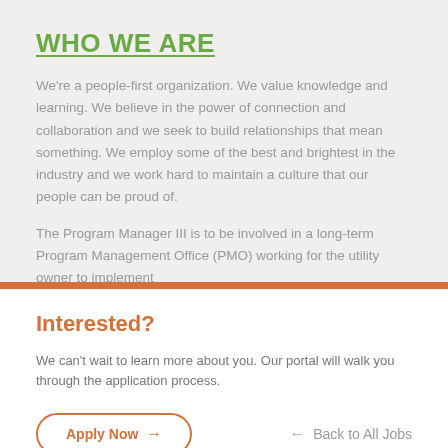WHO WE ARE
We're a people-first organization. We value knowledge and learning. We believe in the power of connection and collaboration and we seek to build relationships that mean something. We employ some of the best and brightest in the industry and we work hard to maintain a culture that our people can be proud of.
The Program Manager III is to be involved in a long-term Program Management Office (PMO) working for the utility owner to implement
Interested?
We can't wait to learn more about you. Our portal will walk you through the application process.
Apply Now →
← Back to All Jobs